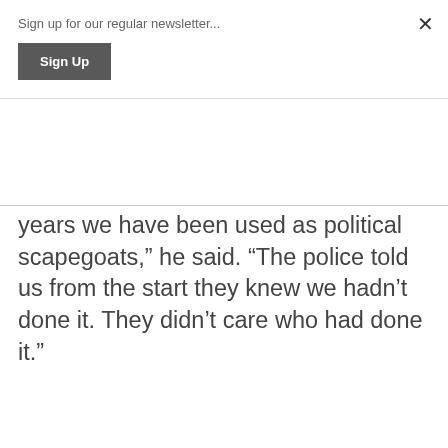Sign up for our regular newsletter...
Sign Up
years we have been used as political scapegoats,” he said. “The police told us from the start they knew we hadn’t done it. They didn’t care who had done it.”
The six were arrested in 1974. They had left Birmingham shortly before the bombs exploded in two city centre pubs in the bloodiest ever IRA attack.